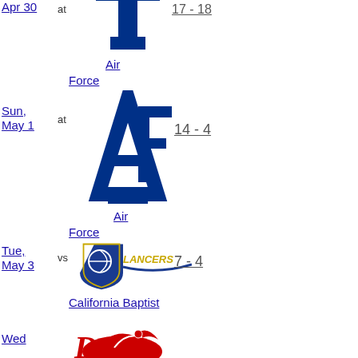Apr 30 at Air Force 17-18
Sun, May 1 at Air Force 14 - 4
Tue, May 3 vs California Baptist 7 - 4
Wed ...